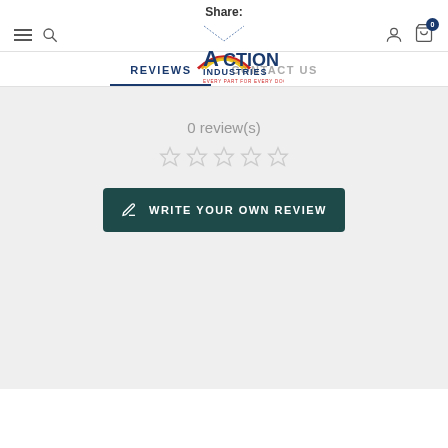Share:
[Figure (logo): Action Industries logo with house/roof shape and rainbow arc, text 'EVERY PART FOR EVERY DOOR']
REVIEWS
CONTACT US
0 review(s)
[Figure (other): Five empty/outline star rating icons]
WRITE YOUR OWN REVIEW